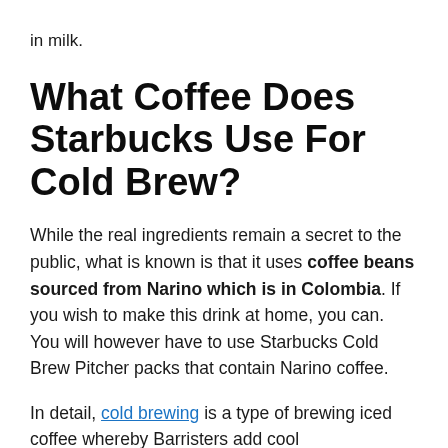in milk.
What Coffee Does Starbucks Use For Cold Brew?
While the real ingredients remain a secret to the public, what is known is that it uses coffee beans sourced from Narino which is in Colombia. If you wish to make this drink at home, you can. You will however have to use Starbucks Cold Brew Pitcher packs that contain Narino coffee.
In detail, cold brewing is a type of brewing iced coffee whereby Barristers add cool